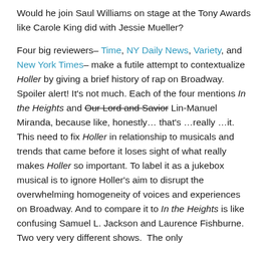Would he join Saul Williams on stage at the Tony Awards like Carole King did with Jessie Mueller?
Four big reviewers– Time, NY Daily News, Variety, and New York Times– make a futile attempt to contextualize Holler by giving a brief history of rap on Broadway. Spoiler alert! It's not much. Each of the four mentions In the Heights and Our Lord and Savior Lin-Manuel Miranda, because like, honestly… that's …really …it. This need to fix Holler in relationship to musicals and trends that came before it loses sight of what really makes Holler so important. To label it as a jukebox musical is to ignore Holler's aim to disrupt the overwhelming homogeneity of voices and experiences on Broadway. And to compare it to In the Heights is like confusing Samuel L. Jackson and Laurence Fishburne. Two very very different shows. The only